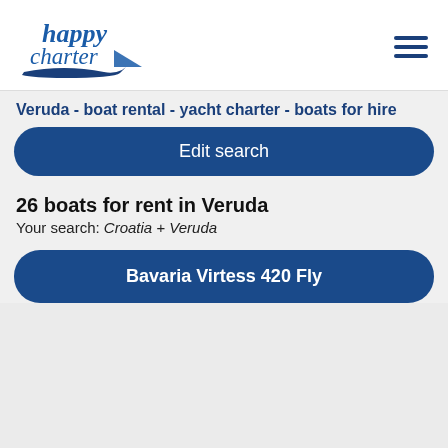[Figure (logo): Happy Charter logo with italic blue text and boat swoosh graphic]
Veruda - boat rental - yacht charter - boats for hire
Edit search
26 boats for rent in Veruda
Your search: Croatia + Veruda
Bavaria Virtess 420 Fly